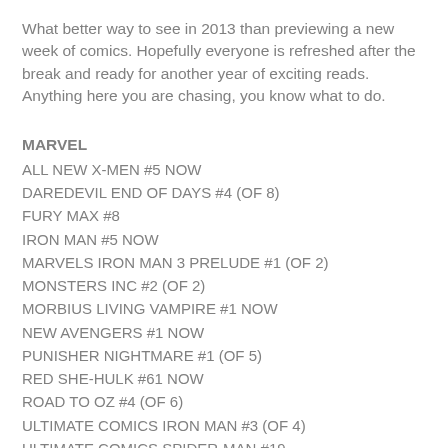What better way to see in 2013 than previewing a new week of comics. Hopefully everyone is refreshed after the break and ready for another year of exciting reads. Anything here you are chasing, you know what to do.
MARVEL
ALL NEW X-MEN #5 NOW
DAREDEVIL END OF DAYS #4 (OF 8)
FURY MAX #8
IRON MAN #5 NOW
MARVELS IRON MAN 3 PRELUDE #1 (OF 2)
MONSTERS INC #2 (OF 2)
MORBIUS LIVING VAMPIRE #1 NOW
NEW AVENGERS #1 NOW
PUNISHER NIGHTMARE #1 (OF 5)
RED SHE-HULK #61 NOW
ROAD TO OZ #4 (OF 6)
ULTIMATE COMICS IRON MAN #3 (OF 4)
ULTIMATE COMICS SPIDER-MAN #19
VENOM #29